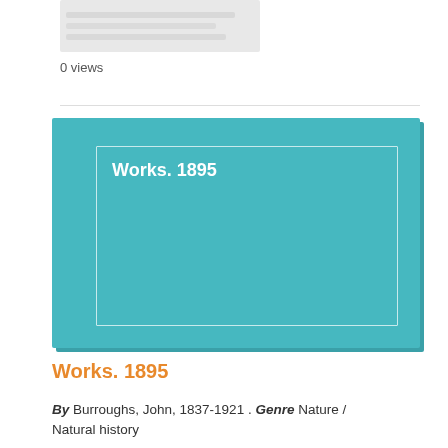[Figure (illustration): Placeholder thumbnail image showing faint text or pattern on a gray background]
0 views
[Figure (illustration): Book cover with teal/turquoise background and white inner border frame. Title 'Works. 1895' in white bold text at upper left.]
Works. 1895
By Burroughs, John, 1837-1921 . Genre Nature / Natural history